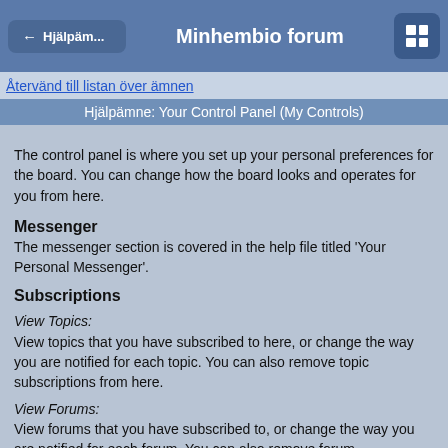← Hjälpäm... | Minhembio forum
Återvänd till listan över ämnen
Hjälpämne: Your Control Panel (My Controls)
The control panel is where you set up your personal preferences for the board. You can change how the board looks and operates for you from here.
Messenger
The messenger section is covered in the help file titled 'Your Personal Messenger'.
Subscriptions
View Topics:
View topics that you have subscribed to here, or change the way you are notified for each topic. You can also remove topic subscriptions from here.
View Forums:
View forums that you have subscribed to, or change the way you are notified for each forum. You can also remove forum subscriptions from here.
Personal Profile
Edit Profile Information:
Here you can specify your own personal information, such as your